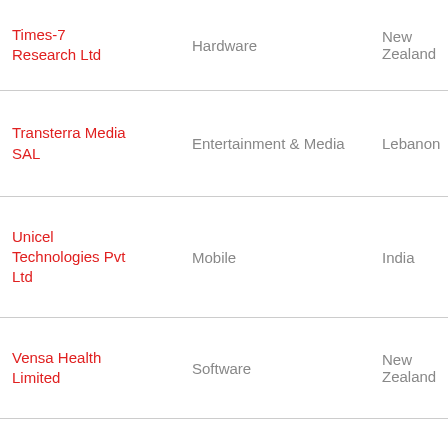| Company | Industry | Country |
| --- | --- | --- |
| Times-7 Research Ltd | Hardware | New Zealand |
| Transterra Media SAL | Entertainment & Media | Lebanon |
| Unicel Technologies Pvt Ltd | Mobile | India |
| Vensa Health Limited | Software | New Zealand |
| VGW Holdings Ltd | Gaming | Australia |
| Vigyanlabs | Software | India |